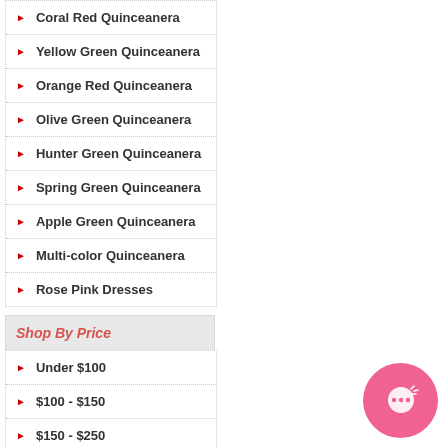Coral Red Quinceanera
Yellow Green Quinceanera
Orange Red Quinceanera
Olive Green Quinceanera
Hunter Green Quinceanera
Spring Green Quinceanera
Apple Green Quinceanera
Multi-color Quinceanera
Rose Pink Dresses
Shop By Price
Under $100
$100 - $150
$150 - $250
$250 - $350